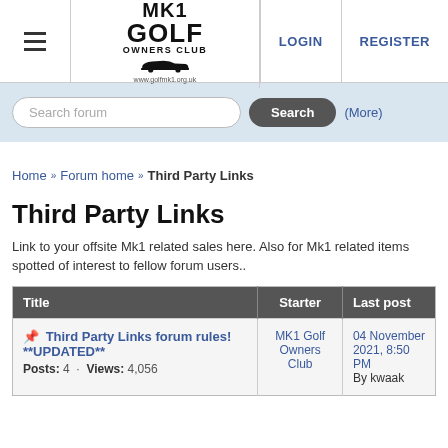MK1 Golf Owners Club | LOGIN | REGISTER
Search forum (More)
Home » Forum home » Third Party Links
Third Party Links
Link to your offsite Mk1 related sales here. Also for Mk1 related items spotted of interest to fellow forum users..
| Title | Starter | Last post |
| --- | --- | --- |
| 📌 Third Party Links forum rules! **UPDATED**
Posts: 4 · Views: 4,056 | MK1 Golf Owners Club | 04 November 2021, 8:50 PM
By kwaak |